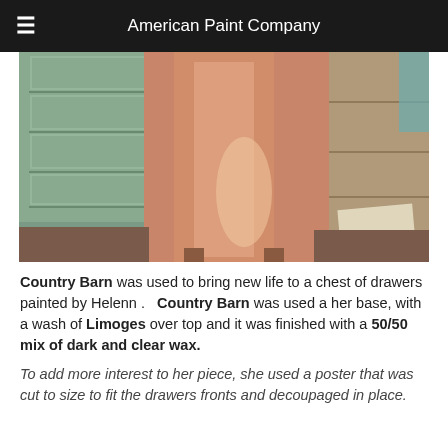American Paint Company
[Figure (photo): Photo of a painted chest of drawers with a salmon/pink color finish, with green-painted furniture pieces on the left side, set on a brown carpet background.]
Country Barn was used to bring new life to a chest of drawers painted by Helenn .   Country Barn was used a her base, with a wash of Limoges over top and it was finished with a 50/50 mix of dark and clear wax.
To add more interest to her piece, she used a poster that was cut to size to fit the drawers fronts and decoupaged in place.